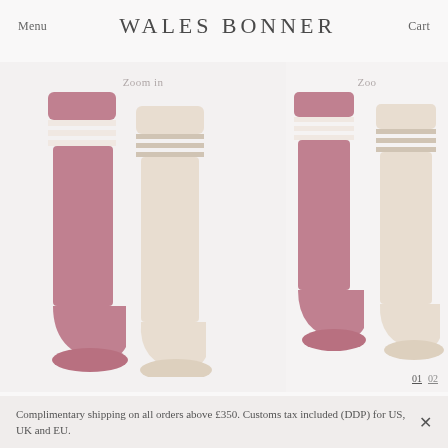Menu   WALES BONNER   Cart
[Figure (photo): Two pairs of knee-high socks shown side by side. Left pair is mauve/dusty pink with three white horizontal stripes near the top cuff. Right pair is cream/off-white with matching stripe detail. Labeled 'Zoom in' overlay text.]
[Figure (photo): Partially visible duplicate/zoomed view of the same two pairs of knee-high socks. Pagination indicators '01' and '02' visible at bottom right. Labeled 'Zoo' (truncated 'Zoom in') overlay.]
Complimentary shipping on all orders above £350. Customs tax included (DDP) for US, UK and EU.